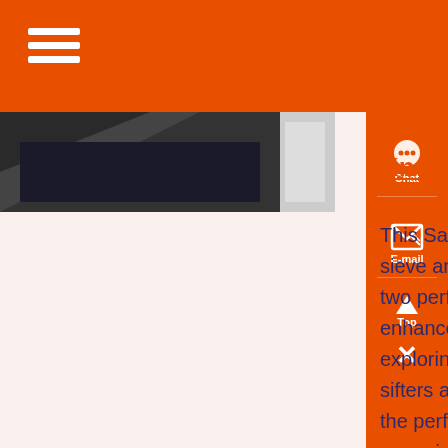[Figure (photo): Partial product photo showing dark-colored sand sifter/bin, cropped at top-left of content area]
Know More
This Sand Sifter Set features a p sieve and four nesting cans with two perforated bottoms to enhance sand and water play Sta exploring by pouring sand into th sifters and watch it seep throug the perforated base Use this engaging set to support sensory development along with teaching the concepts of texture, sorting, stacking, and more Made from durable, rust-free ,...